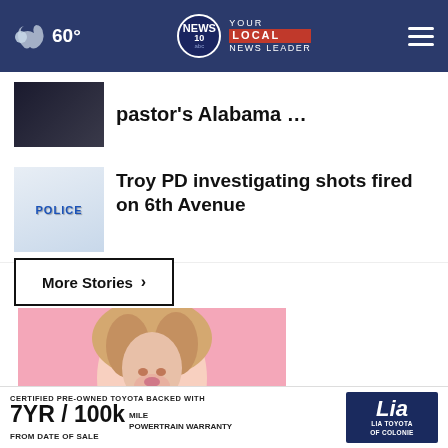60° NEWS 10 abc YOUR LOCAL NEWS LEADER
pastor's Alabama …
Troy PD investigating shots fired on 6th Avenue
More Stories ›
[Figure (photo): Smiling woman with curly hair on pink background — advertisement overlay]
CERTIFIED PRE-OWNED TOYOTA BACKED WITH 7YR / 100k MILE POWERTRAIN WARRANTY FROM DATE OF SALE — Lia LIA TOYOTA OF COLONIE